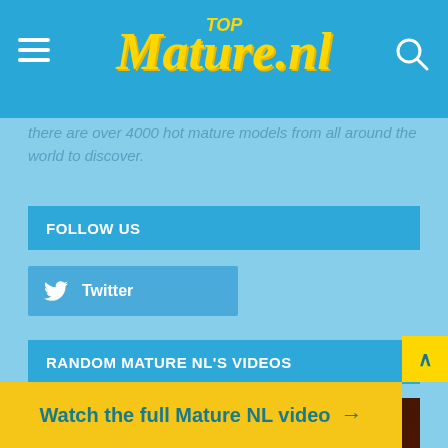TOP Mature.nl
there are over 4000 hot mature models from all around the world to discover.
FOLLOW US
Twitter
RANDOM MATURE NL'S VIDEOS
[Figure (photo): Video thumbnail with warm brown/orange tones and yellow tag label]
This site uses cookies. By continuing to browse the site you
Watch the full Mature NL video →